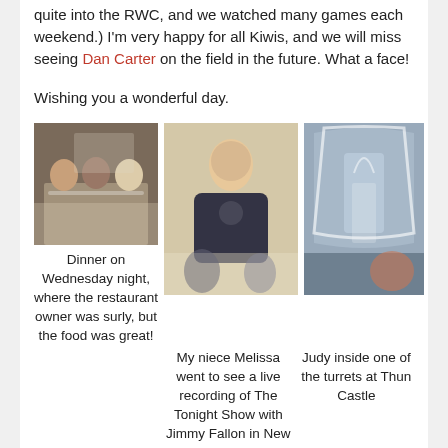quite into the RWC, and we watched many games each weekend.) I'm very happy for all Kiwis, and we will miss seeing Dan Carter on the field in the future. What a face!
Wishing you a wonderful day.
[Figure (photo): Three people sitting at a dinner table in a restaurant]
Dinner on Wednesday night, where the restaurant owner was surly, but the food was great!
[Figure (photo): A woman smiling and dancing, wearing a dark t-shirt]
[Figure (photo): View through an arched window of Thun Castle turrets and landscape, with a silhouette of a person]
My niece Melissa went to see a live recording of The Tonight Show with Jimmy Fallon in New York and all I got was this excellent glow in the dark t-shirt! Love it!
Judy inside one of the turrets at Thun Castle